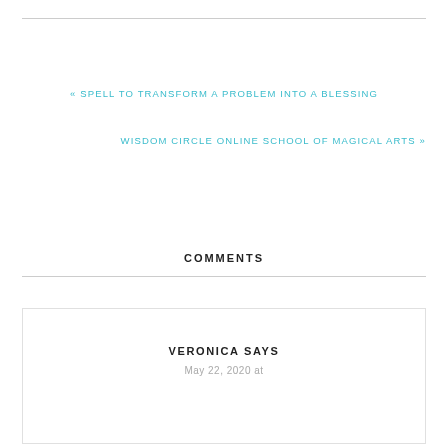« SPELL TO TRANSFORM A PROBLEM INTO A BLESSING
WISDOM CIRCLE ONLINE SCHOOL OF MAGICAL ARTS »
COMMENTS
VERONICA SAYS
May 22, 2020 at